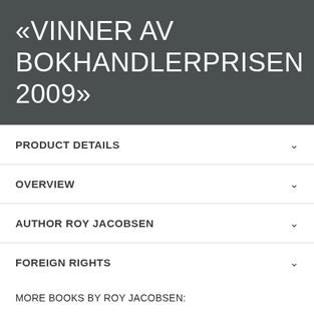«VINNER AV BOKHANDLERPRISEN 2009»
PRODUCT DETAILS
OVERVIEW
AUTHOR ROY JACOBSEN
FOREIGN RIGHTS
MORE BOOKS BY ROY JACOBSEN:
[Figure (illustration): Book cover for Hvitt Hav by Roy Jacobsen]
White Shadow
Barrøy-serien / Roy Jacobsen